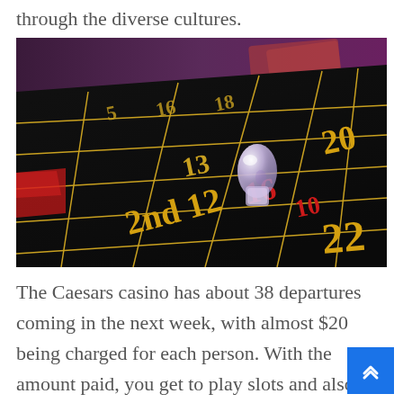through the diverse cultures.
[Figure (photo): Close-up photograph of a roulette table with a glass ball resting on it. The black felt table shows gold and red numbers including 13, 16, 20, 22 and the text '2nd 12'. Gold grid lines divide the betting sections.]
The Caesars casino has about 38 departures coming in the next week, with almost $20 being charged for each person. With the amount paid, you get to play slots and also is